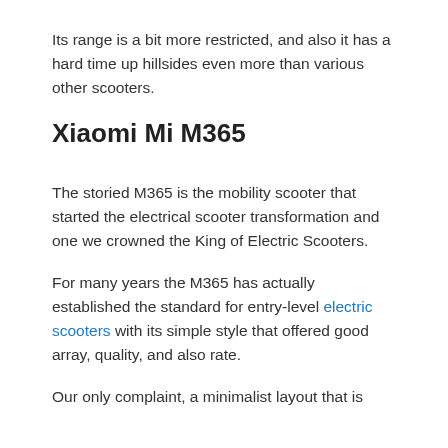Its range is a bit more restricted, and also it has a hard time up hillsides even more than various other scooters.
Xiaomi Mi M365
The storied M365 is the mobility scooter that started the electrical scooter transformation and one we crowned the King of Electric Scooters.
For many years the M365 has actually established the standard for entry-level electric scooters with its simple style that offered good array, quality, and also rate.
Our only complaint, a minimalist layout that is